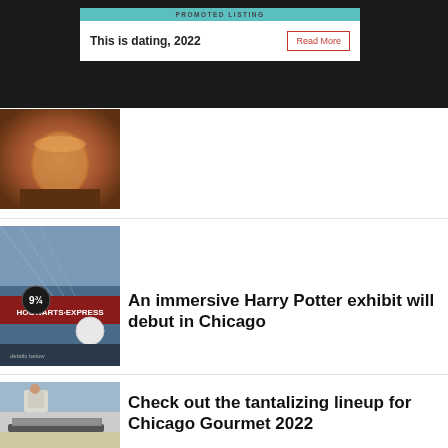[Figure (screenshot): Promoted listing banner: teal header reading PROMOTED LISTING, white box with bold text 'This is dating, 2022' and a red-bordered 'Read More' button]
[Figure (photo): Partial image of a cocktail drink in a glass on a wooden surface]
An immersive Harry Potter exhibit will debut in Chicago
[Figure (photo): Photo of Hogwarts Express Platform 9¾ sign inside a grand train station]
Check out the tantalizing lineup for Chicago Gourmet 2022
[Figure (photo): Photo of a chef in a white apron grilling food at an outdoor event]